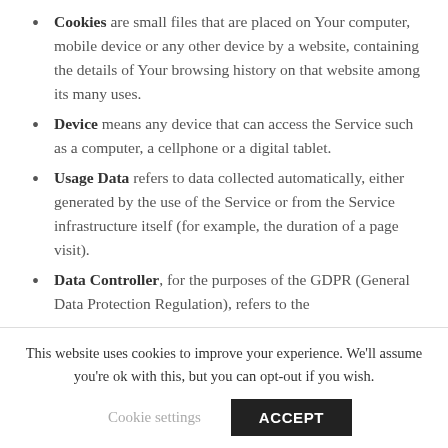Cookies are small files that are placed on Your computer, mobile device or any other device by a website, containing the details of Your browsing history on that website among its many uses.
Device means any device that can access the Service such as a computer, a cellphone or a digital tablet.
Usage Data refers to data collected automatically, either generated by the use of the Service or from the Service infrastructure itself (for example, the duration of a page visit).
Data Controller, for the purposes of the GDPR (General Data Protection Regulation), refers to the
This website uses cookies to improve your experience. We'll assume you're ok with this, but you can opt-out if you wish.